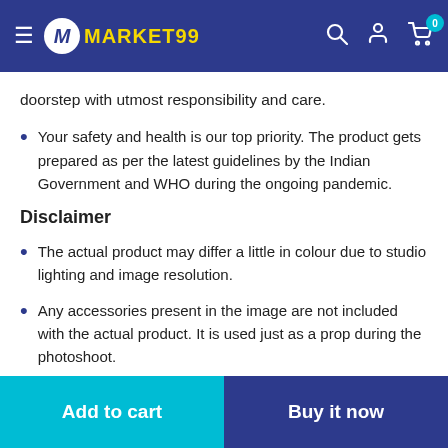MARKET99
doorstep with utmost responsibility and care.
Your safety and health is our top priority. The product gets prepared as per the latest guidelines by the Indian Government and WHO during the ongoing pandemic.
Disclaimer
The actual product may differ a little in colour due to studio lighting and image resolution.
Any accessories present in the image are not included with the actual product. It is used just as a prop during the photoshoot.
Add to cart | Buy it now